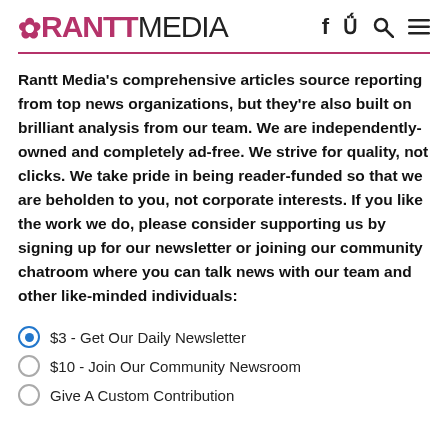RANTTMEDIA
Rantt Media's comprehensive articles source reporting from top news organizations, but they're also built on brilliant analysis from our team. We are independently-owned and completely ad-free. We strive for quality, not clicks. We take pride in being reader-funded so that we are beholden to you, not corporate interests. If you like the work we do, please consider supporting us by signing up for our newsletter or joining our community chatroom where you can talk news with our team and other like-minded individuals:
$3 - Get Our Daily Newsletter
$10 - Join Our Community Newsroom
Give A Custom Contribution